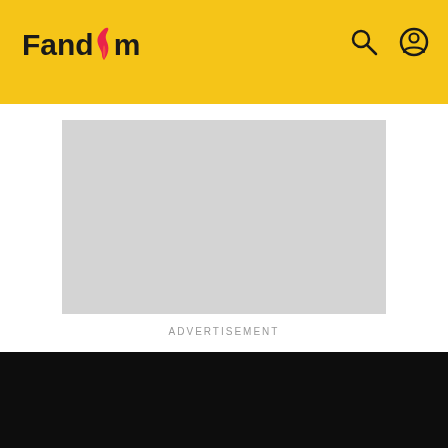Fandom
[Figure (screenshot): Advertisement placeholder - grey rectangle]
ADVERTISEMENT
FAMILYPEDIA
Nancy Ann Brown (1871-1935)
EDIT